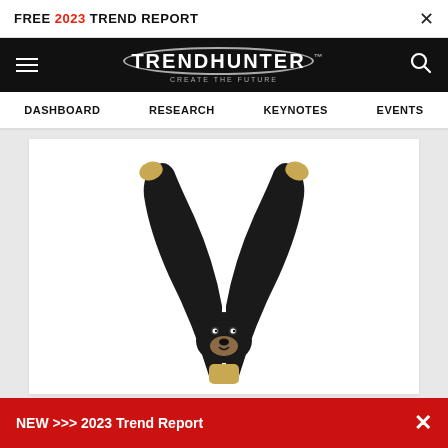FREE 2023 TREND REPORT  ×
[Figure (logo): TrendHunter logo with hamburger menu and search icon on black navigation bar]
DASHBOARD  RESEARCH  KEYNOTES  EVENTS
[Figure (photo): A black bear slingshot carved wooden toy shaped like a Y with a bear face at the base, arms raised up]
NEW >>> 2023 Trend Report  ×